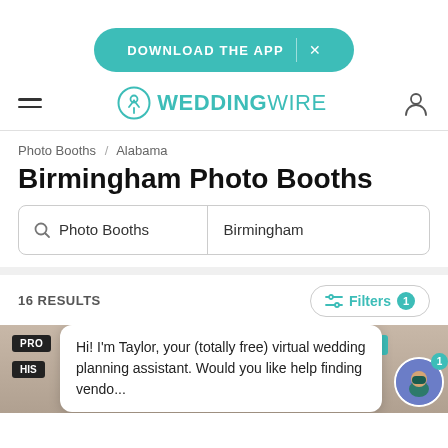[Figure (screenshot): Download the App banner button in teal/green color with X close button]
WEDDINGWIRE
Photo Booths / Alabama
Birmingham Photo Booths
[Figure (screenshot): Search bar with Photo Booths and Birmingham fields]
16 RESULTS
[Figure (screenshot): Filters button with badge showing 1]
Hi! I'm Taylor, your (totally free) virtual wedding planning assistant. Would you like help finding vendo...
[Figure (photo): Photo strip showing people smiling with PRO badge, HIS badge, HE badge, and Taylor avatar chatbot]